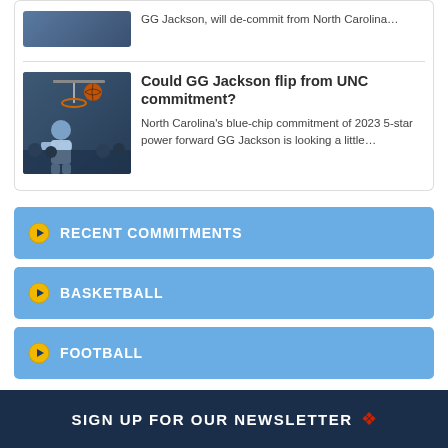GG Jackson, will de-commit from North Carolina…
Could GG Jackson flip from UNC commitment?
North Carolina's blue-chip commitment of 2023 5-star power forward GG Jackson is looking a little…
RECENT COMMITMENTS
BASKETBALL
FOOTBALL
SIGN UP FOR OUR NEWSLETTER